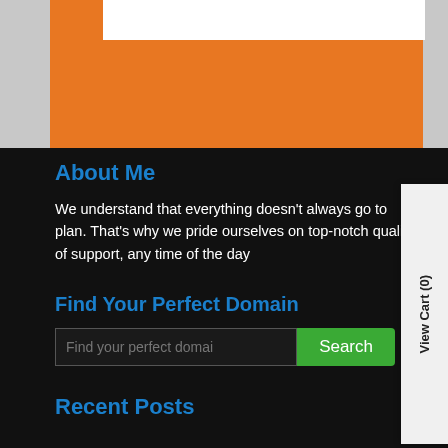[Figure (screenshot): Orange banner section at top with white bar]
About Me
We understand that everything doesn't always go to plan. That's why we pride ourselves on top-notch quality of support, any time of the day
Find Your Perfect Domain
Find your perfect domain [search input] Search [button]
Recent Posts